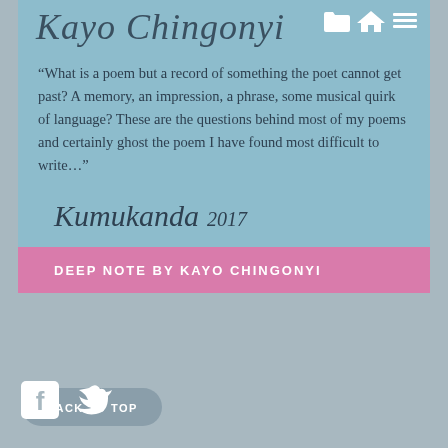Kayo Chingonyi
“What is a poem but a record of something the poet cannot get past? A memory, an impression, a phrase, some musical quirk of language? These are the questions behind most of my poems and certainly ghost the poem I have found most difficult to write…”
Kumukanda 2017
DEEP NOTE BY KAYO CHINGONYI
BACK TO TOP